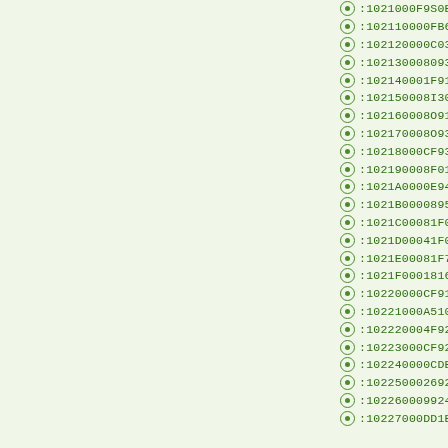:1021000F9S0E940091092BB098DB79EB
:102110000FB6F8949EBF0FBE8DBF80910B03
:102120000C03009709F4D1CD0E9486149093
:102130008093D806CACD8093DA031092DE03
:102140001F910F91FF90EF900895982F8091
:102150008I3031F0892F0E94CF0D282F3327
:102160008O912E04E82FFF27E75DFC4F9083
:102170008O932E0421E030E0C90108950F93
:10218000CF93DF938C01EB01672B71F0F801
:102190008F010E94A510219739F0F8018191
:1021A0000E94A510219791F7DF91CF911F91
:1021B00008950F931F93CF93DF938C01EB01
:1021C00081F0F8010F5F1F4F84910E94A510
:1021D00041F0F8010F5F1F4F84910E94A510
:1021E00081F7DF91CF911F910F910895CF93
:1021F000181634F480E20E94A510C1501C16
:10220000CF910895CF93C82F181634F480E3
:10221000A510C1501C16D4F3CF9108952F92
:102220004F925F926F927F928F929F92AF92
:10223000CF92DF92EF92FF920F931F93CF93
:102240000CDB7DEB7E0970FB6F894DEBF0FBE
:10225000269268FAD26972896EEADFFAD2897
:10226000992454018093E20748E4C42ED12C0
:10227000DD1E7F01C701F7011491111223 31F0